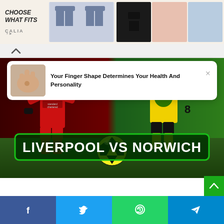[Figure (photo): Advertisement banner for Calia brand swimwear/activewear showing 'CHOOSE WHAT FITS' text on left, with swimwear product images (shorts, bikinis, rash guard) on right]
[Figure (screenshot): Collapse/minimize bar with up arrow]
[Figure (infographic): Popup ad card with thumbnail of hand/finger image and text 'Your Finger Shape Determines Your Health And Personality' with X close button]
[Figure (photo): Football match photo showing Liverpool player in red kit (Standard Chartered sponsor) vs Norwich player in green/yellow Lotus-sponsored kit, with a colorful ball on the pitch. Overlay banner reads 'LIVERPOOL VS NORWICH']
[Figure (screenshot): Social share bar at bottom with Facebook, Twitter, WhatsApp, and Telegram share buttons]